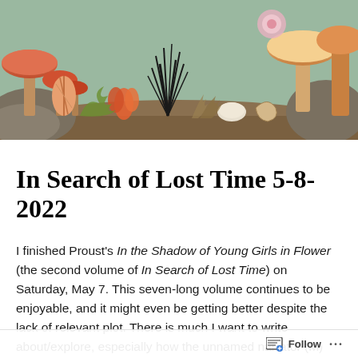[Figure (illustration): A colorful botanical/naturalist illustration showing various sea creatures, mushrooms, shells, coral, and sea plants in warm earthy and red-orange tones against a rocky background.]
In Search of Lost Time 5-8-2022
I finished Proust's In the Shadow of Young Girls in Flower (the second volume of In Search of Lost Time) on Saturday, May 7. This seven-long volume continues to be enjoyable, and it might even be getting better despite the lack of relevant plot. There is much I want to write about/explore, especially how the unnamed narrator (M) views women and girls as things to possess and to choose from, as if being in a grocery store and deciding which
Follow ···